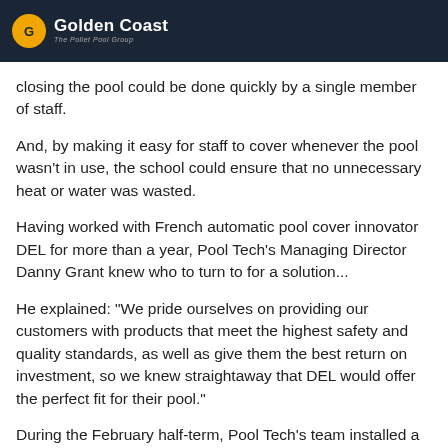Golden Coast — The Pollet Pool Group
closing the pool could be done quickly by a single member of staff.
And, by making it easy for staff to cover whenever the pool wasn't in use, the school could ensure that no unnecessary heat or water was wasted.
Having worked with French automatic pool cover innovator DEL for more than a year, Pool Tech's Managing Director Danny Grant knew who to turn to for a solution...
He explained: "We pride ourselves on providing our customers with products that meet the highest safety and quality standards, as well as give them the best return on investment, so we knew straightaway that DEL would offer the perfect fit for their pool."
During the February half-term, Pool Tech's team installed a DEL Dune cover to its 30-metre pool: the biggest ever installed in the UK to date.